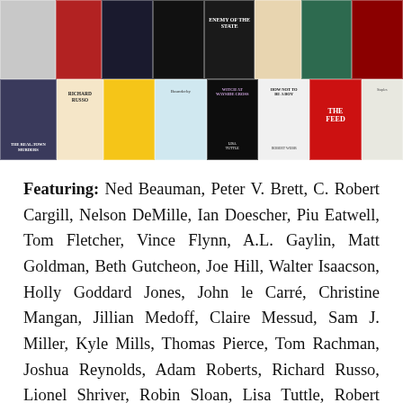[Figure (photo): Collage of book covers arranged in two rows, featuring various fiction and non-fiction titles including Enemy of the State, The Real-Town Murders, Richard Russo, Witch at Wayside Cross by Lisa Tuttle, How Not to Be a Boy by Robert Webb, The Feed, and others.]
Featuring: Ned Beauman, Peter V. Brett, C. Robert Cargill, Nelson DeMille, Ian Doescher, Piu Eatwell, Tom Fletcher, Vince Flynn, A.L. Gaylin, Matt Goldman, Beth Gutcheon, Joe Hill, Walter Isaacson, Holly Goddard Jones, John le Carré, Christine Mangan, Jillian Medoff, Claire Messud, Sam J. Miller, Kyle Mills, Thomas Pierce, Tom Rachman, Joshua Reynolds, Adam Roberts, Richard Russo, Lionel Shriver, Robin Sloan, Lisa Tuttle, Robert Webb, Nick Clark Windo, Anna Yen